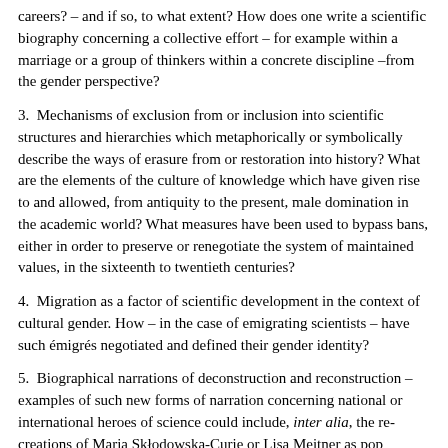careers? – and if so, to what extent? How does one write a scientific biography concerning a collective effort – for example within a marriage or a group of thinkers within a concrete discipline –from the gender perspective?
3.  Mechanisms of exclusion from or inclusion into scientific structures and hierarchies which metaphorically or symbolically describe the ways of erasure from or restoration into history? What are the elements of the culture of knowledge which have given rise to and allowed, from antiquity to the present, male domination in the academic world? What measures have been used to bypass bans, either in order to preserve or renegotiate the system of maintained values, in the sixteenth to twentieth centuries?
4.  Migration as a factor of scientific development in the context of cultural gender. How – in the case of emigrating scientists – have such émigrés negotiated and defined their gender identity?
5.  Biographical narrations of deconstruction and reconstruction – examples of such new forms of narration concerning national or international heroes of science could include, inter alia, the re-creations of Maria Skłodowska-Curie or Lisa Meitner as pop cultural icons. To which other scientists, including from the humanities, could an analogous narration be applied? Is it possible to present the biographies of renowned women scientists using the instruments of 'public history'?  Kindly submit a proposal (a maximum of 3000 characters), together with short biographical notes, in either Polish, German, or English, by 15 October 2017